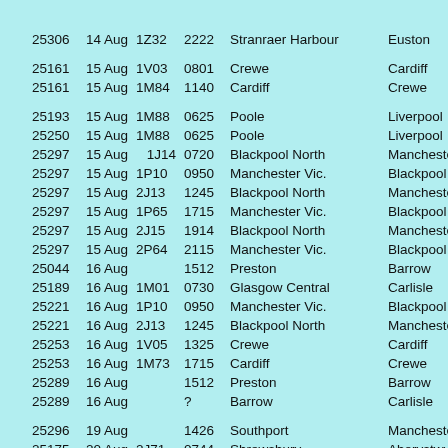| Loco | Date | Headcode | Time | Origin | Destination |
| --- | --- | --- | --- | --- | --- |
| 25306 | 14 Aug | 1Z32 | 2222 | Stranraer Harbour | Euston |
| 25161 | 15 Aug | 1V03 | 0801 | Crewe | Cardiff |
| 25161 | 15 Aug | 1M84 | 1140 | Cardiff | Crewe |
| 25193 | 15 Aug | 1M88 | 0625 | Poole | Liverpool |
| 25250 | 15 Aug | 1M88 | 0625 | Poole | Liverpool |
| 25297 | 15 Aug | 1J14 | 0720 | Blackpool North | Manchester Vic |
| 25297 | 15 Aug | 1P10 | 0950 | Manchester Vic. | Blackpool North |
| 25297 | 15 Aug | 2J13 | 1245 | Blackpool North | Manchester Vic |
| 25297 | 15 Aug | 1P65 | 1715 | Manchester Vic. | Blackpool North |
| 25297 | 15 Aug | 2J15 | 1914 | Blackpool North | Manchester Vic |
| 25297 | 15 Aug | 2P64 | 2115 | Manchester Vic. | Blackpool North |
| 25044 | 16 Aug |  | 1512 | Preston | Barrow |
| 25189 | 16 Aug | 1M01 | 0730 | Glasgow Central | Carlisle |
| 25221 | 16 Aug | 1P10 | 0950 | Manchester Vic. | Blackpool North |
| 25221 | 16 Aug | 2J13 | 1245 | Blackpool North | Manchester Vic |
| 25253 | 16 Aug | 1V05 | 1325 | Crewe | Cardiff |
| 25253 | 16 Aug | 1M73 | 1715 | Cardiff | Crewe |
| 25289 | 16 Aug |  | 1512 | Preston | Barrow |
| 25289 | 16 Aug |  | ? | Barrow | Carlisle |
| 25296 | 19 Aug |  | 1426 | Southport | Manchester Vic |
| 25175 | 20 Aug | 2J71 | 0744 | Shrewsbury | Aberystwyth |